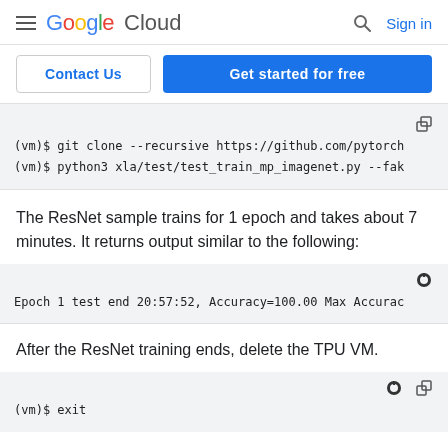Google Cloud  Sign in
Contact Us  Get started for free
[Figure (screenshot): Code block showing: (vm)$ git clone --recursive https://github.com/pytorch  (vm)$ python3 xla/test/test_train_mp_imagenet.py --fak]
The ResNet sample trains for 1 epoch and takes about 7 minutes. It returns output similar to the following:
[Figure (screenshot): Code block showing: Epoch 1 test end 20:57:52, Accuracy=100.00 Max Accurac]
After the ResNet training ends, delete the TPU VM.
[Figure (screenshot): Code block showing: (vm)$ exit]